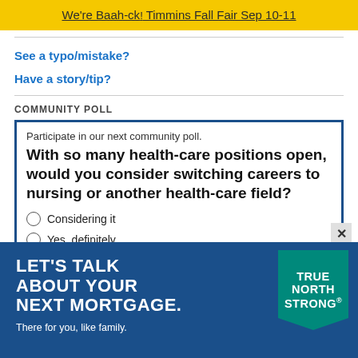We're Baah-ck! Timmins Fall Fair Sep 10-11
See a typo/mistake?
Have a story/tip?
COMMUNITY POLL
Participate in our next community poll.
With so many health-care positions open, would you consider switching careers to nursing or another health-care field?
Considering it
Yes, definitely
[Figure (other): Advertisement banner: LET'S TALK ABOUT YOUR NEXT MORTGAGE. There for you, like family. True North Strong badge on blue background.]